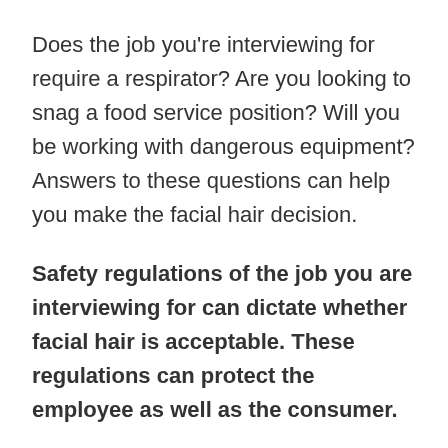Does the job you're interviewing for require a respirator? Are you looking to snag a food service position? Will you be working with dangerous equipment? Answers to these questions can help you make the facial hair decision.
Safety regulations of the job you are interviewing for can dictate whether facial hair is acceptable. These regulations can protect the employee as well as the consumer.